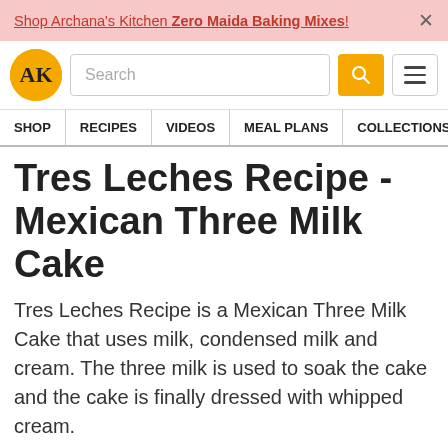Shop Archana's Kitchen Zero Maida Baking Mixes!
[Figure (logo): Archana's Kitchen AK logo in gold circle with search bar and hamburger menu]
SHOP | RECIPES | VIDEOS | MEAL PLANS | COLLECTIONS | ART
Tres Leches Recipe - Mexican Three Milk Cake
Tres Leches Recipe is a Mexican Three Milk Cake that uses milk, condensed milk and cream. The three milk is used to soak the cake and the cake is finally dressed with whipped cream.
Archana's Kitchen  On 01 Dec 2012